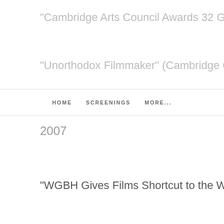"Cambridge Arts Council Awards 32 Grants" (Cambri...
"Unorthodox Filmmaker" (Cambridge Chronicle, Janu...
HOME    SCREENINGS    MORE...
2007
"WGBH Gives Films Shortcut to the Web" (Boston Glo...
© 2...